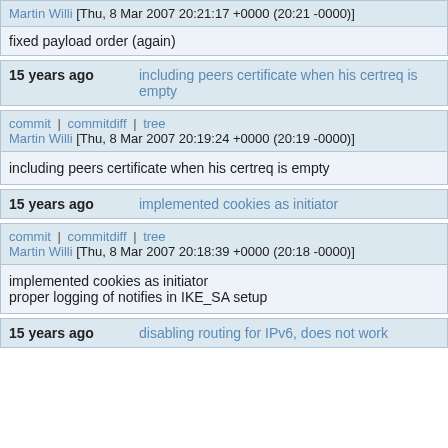Martin Willi [Thu, 8 Mar 2007 20:21:17 +0000 (20:21 -0000)]
fixed payload order (again)
15 years ago   including peers certificate when his certreq is empty
commit | commitdiff | tree
Martin Willi [Thu, 8 Mar 2007 20:19:24 +0000 (20:19 -0000)]
including peers certificate when his certreq is empty
15 years ago   implemented cookies as initiator
commit | commitdiff | tree
Martin Willi [Thu, 8 Mar 2007 20:18:39 +0000 (20:18 -0000)]
implemented cookies as initiator
proper logging of notifies in IKE_SA setup
15 years ago   disabling routing for IPv6, does not work